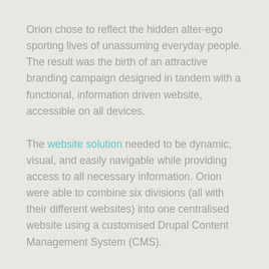Orion chose to reflect the hidden alter-ego sporting lives of unassuming everyday people. The result was the birth of an attractive branding campaign designed in tandem with a functional, information driven website, accessible on all devices.
The website solution needed to be dynamic, visual, and easily navigable while providing access to all necessary information. Orion were able to combine six divisions (all with their different websites) into one centralised website using a customised Drupal Content Management System (CMS).